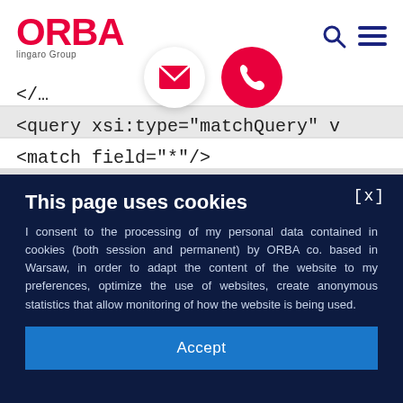[Figure (screenshot): ORBA Lingaro Group website header with logo, search icon, hamburger menu, email and phone icon buttons, and XML code snippet showing query and match elements]
This page uses cookies
I consent to the processing of my personal data contained in cookies (both session and permanent) by ORBA co. based in Warsaw, in order to adapt the content of the website to my preferences, optimize the use of websites, create anonymous statistics that allow monitoring of how the website is being used.
Accept